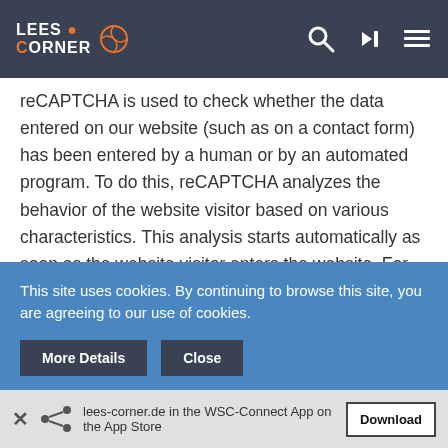LEES CORNER [website header with logo and navigation icons]
reCAPTCHA is used to check whether the data entered on our website (such as on a contact form) has been entered by a human or by an automated program. To do this, reCAPTCHA analyzes the behavior of the website visitor based on various characteristics. This analysis starts automatically as soon as the website visitor enters the website. For the analysis, reCAPTCHA evaluates various information (e.g. IP address, how long the visitor has been on the website, or mouse movements made by the user). The data collected during the analysis will be forwarded to Google.
The reCAPTCHA analyses take place completely in the
This site uses cookies. By continuing to browse this site, you are agreeing to our use of cookies.
lees-corner.de in the WSC-Connect App on the App Store